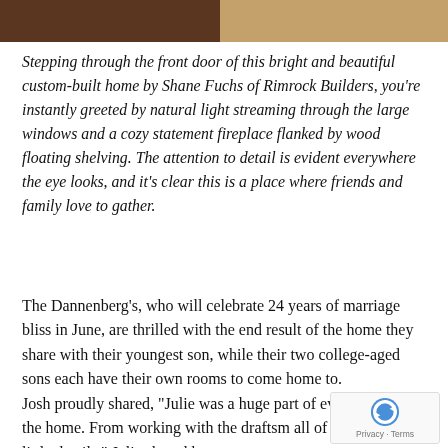[Figure (photo): Two-panel photo strip at the top: left side showing dark brown wood/material, right side showing lighter tan/wood flooring]
Stepping through the front door of this bright and beautiful custom-built home by Shane Fuchs of Rimrock Builders, you're instantly greeted by natural light streaming through the large windows and a cozy statement fireplace flanked by wood floating shelving. The attention to detail is evident everywhere the eye looks, and it's clear this is a place where friends and family love to gather.
The Dannenberg's, who will celebrate 24 years of marriage bliss in June, are thrilled with the end result of the home they share with their youngest son, while their two college-aged sons each have their own rooms to come home to.
Josh proudly shared, “Julie was a huge part of every designing the home. From working with the draftsm all of the big and little details.” Julie shared her